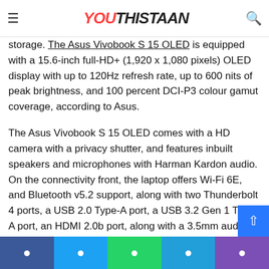YOUTHISTAAN (logo/header bar)
paired with AMD Radeon or Intel Iris Xe graphics chip up to 16GB storage, and up to 1TB of NVMe SSD storage. The Asus Vivobook S 15 OLED is equipped with a 15.6-inch full-HD+ (1,920 x 1,080 pixels) OLED display with up to 120Hz refresh rate, up to 600 nits of peak brightness, and 100 percent DCI-P3 colour gamut coverage, according to Asus.
The Asus Vivobook S 15 OLED comes with a HD camera with a privacy shutter, and features inbuilt speakers and microphones with Harman Kardon audio. On the connectivity front, the laptop offers Wi-Fi 6E, and Bluetooth v5.2 support, along with two Thunderbolt 4 ports, a USB 2.0 Type-A port, a USB 3.2 Gen 1 Type-A port, an HDMI 2.0b port, along with a 3.5mm audio jack. The laptop packs a 70Wh battery. It measures 359.8 x 232.9 x 18.9 mm and weighs 1.80kg.
Facebook | Twitter | WhatsApp | Telegram | Phone